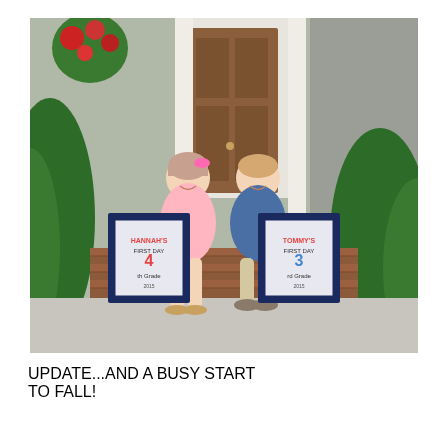[Figure (photo): Two children (a girl and a boy) sitting on brick front porch steps in front of a wooden front door, surrounded by green plants and red flowers. Each child holds a framed 'first day of school' sign. The girl is wearing a pink dress and the boy is wearing a blue polo shirt.]
UPDATE...AND A BUSY START TO FALL!